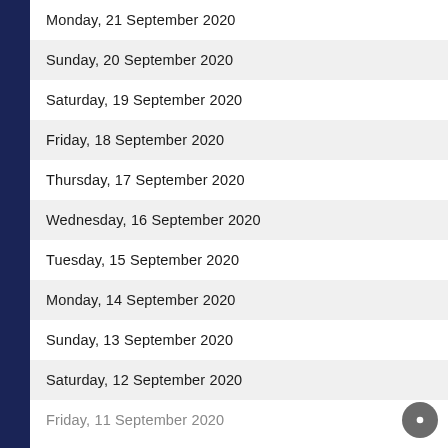Monday, 21 September 2020
Sunday, 20 September 2020
Saturday, 19 September 2020
Friday, 18 September 2020
Thursday, 17 September 2020
Wednesday, 16 September 2020
Tuesday, 15 September 2020
Monday, 14 September 2020
Sunday, 13 September 2020
Saturday, 12 September 2020
Friday, 11 September 2020